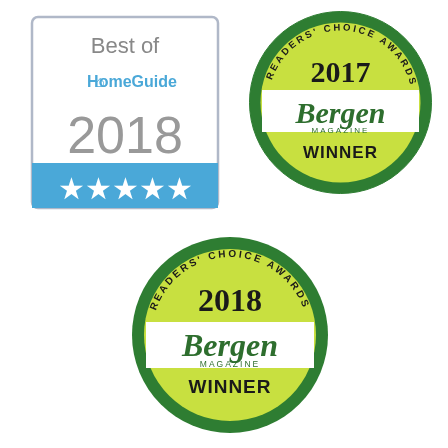[Figure (logo): Best of HomeGuide 2018 badge with blue stars at bottom]
[Figure (logo): Bergen Magazine 2017 Readers' Choice Awards Winner circular badge in green]
[Figure (logo): Bergen Magazine 2018 Readers' Choice Awards Winner circular badge in green]